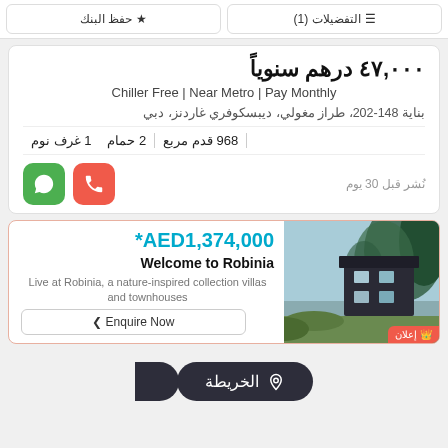حفظ البنك | التفضيلات (1)
٤٧,٠٠٠ درهم سنوياً
Chiller Free | Near Metro | Pay Monthly
بناية 148-202, طراز مغولي, ديبسكوفري غاردنز, دبي
1 غرف نوم | 2 حمام | 968 قدم مربع
نُشر قبل 30 يوم
[Figure (infographic): Advertisement banner for Robinia with price AED1,374,000, title Welcome to Robinia, description of nature-inspired villas and townhouses, Enquire Now button, and property image]
*AED1,374,000
Welcome to Robinia
Live at Robinia, a nature-inspired collection villas and townhouses
الخريطة